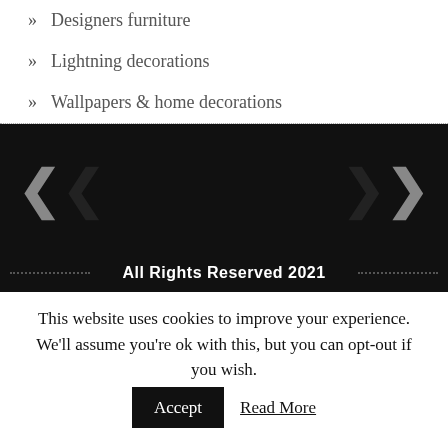» Designers furniture
» Lightning decorations
» Wallpapers & home decorations
[Figure (other): Navigation section with left double-chevron and right double-chevron arrows on a black background]
All Rights Reserved 2021
This website uses cookies to improve your experience. We'll assume you're ok with this, but you can opt-out if you wish. Accept  Read More